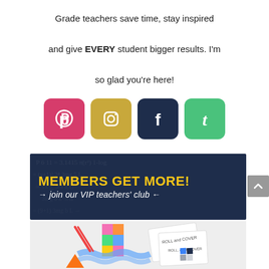Grade teachers save time, stay inspired and give EVERY student bigger results. I'm so glad you're here!
[Figure (illustration): Four social media icon buttons: Pinterest (pink/red), Instagram (gold/tan), Facebook (dark navy), Tumblr (green)]
[Figure (illustration): Dark navy banner reading 'MEMBERS GET MORE!' in bold yellow text, with subtitle '→ join our VIP teachers' club ←' in white italic text, overlaid on a math equations watermark background. Below the banner is a photo of children's hands cutting colored paper squares with scissors, and worksheets labeled 'Roll and Cover' and 'Roll, Add, Cover'.]